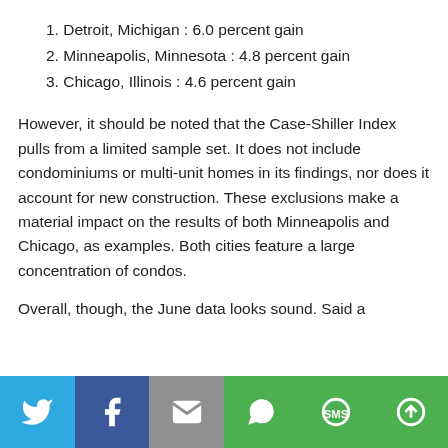1. Detroit, Michigan : 6.0 percent gain
2. Minneapolis, Minnesota : 4.8 percent gain
3. Chicago, Illinois : 4.6 percent gain
However, it should be noted that the Case-Shiller Index pulls from a limited sample set. It does not include condominiums or multi-unit homes in its findings, nor does it account for new construction. These exclusions make a material impact on the results of both Minneapolis and Chicago, as examples. Both cities feature a large concentration of condos.
Overall, though, the June data looks sound. Said a